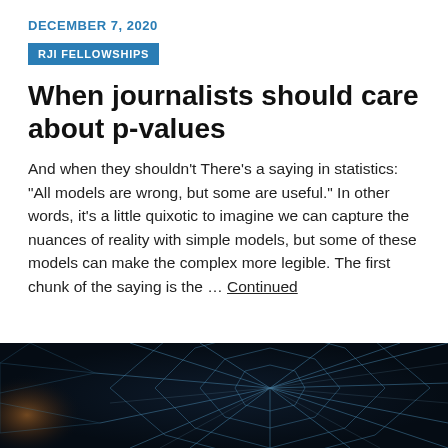DECEMBER 7, 2020
RJI FELLOWSHIPS
When journalists should care about p-values
And when they shouldn’t There’s a saying in statistics: “All models are wrong, but some are useful.” In other words, it’s a little quixotic to imagine we can capture the nuances of reality with simple models, but some of these models can make the complex more legible. The first chunk of the saying is the … Continued
[Figure (photo): Dark close-up photograph of a spider web with geometric hexagonal/octagonal web pattern against a dark blue-black background, with a blurred orange-gold light visible in the left corner.]